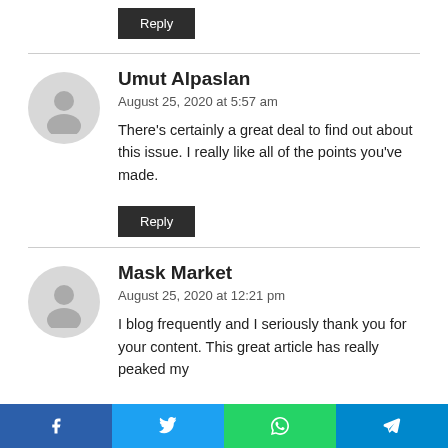Reply
Umut Alpaslan
August 25, 2020 at 5:57 am
There's certainly a great deal to find out about this issue. I really like all of the points you've made.
Reply
Mask Market
August 25, 2020 at 12:21 pm
I blog frequently and I seriously thank you for your content. This great article has really peaked my
f  t  ⊕  ✈